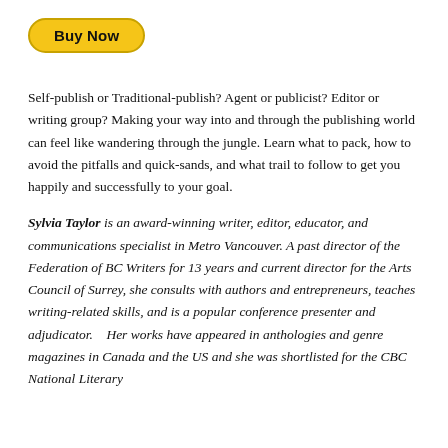[Figure (other): Yellow 'Buy Now' button with rounded corners and dark border]
Self-publish or Traditional-publish? Agent or publicist? Editor or writing group? Making your way into and through the publishing world can feel like wandering through the jungle. Learn what to pack, how to avoid the pitfalls and quick-sands, and what trail to follow to get you happily and successfully to your goal.
Sylvia Taylor is an award-winning writer, editor, educator, and communications specialist in Metro Vancouver. A past director of the Federation of BC Writers for 13 years and current director for the Arts Council of Surrey, she consults with authors and entrepreneurs, teaches writing-related skills, and is a popular conference presenter and adjudicator.   Her works have appeared in anthologies and genre magazines in Canada and the US and she was shortlisted for the CBC National Literary